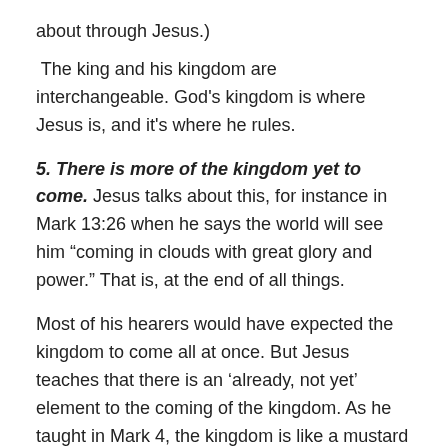about through Jesus.)
The king and his kingdom are interchangeable. God's kingdom is where Jesus is, and it's where he rules.
5. There is more of the kingdom yet to come. Jesus talks about this, for instance in Mark 13:26 when he says the world will see him “coming in clouds with great glory and power.” That is, at the end of all things.
Most of his hearers would have expected the kingdom to come all at once. But Jesus teaches that there is an ‘already, not yet’ element to the coming of the kingdom. As he taught in Mark 4, the kingdom is like a mustard seed that starts out small, but eventually covers the whole world. It’s already here with his coming, but it’s not yet all the way here. That will await his second coming.